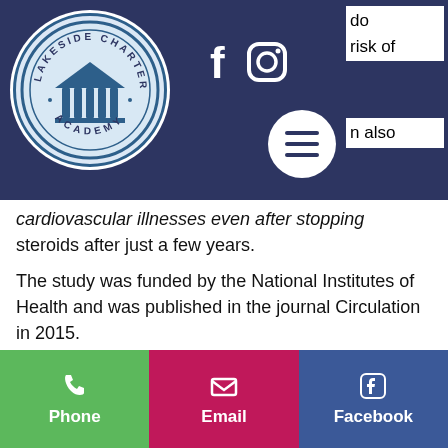[Figure (logo): Lakeside Charter Academy circular seal logo with columns]
do
risk of
n also
and
cardiovascular illnesses even after stopping steroids after just a few years.
The study was funded by the National Institutes of Health and was published in the journal Circulation in 2015.
Other sources of information: The Institute of Medicine's report that cites a high-risk risk for heart attacks from high-intensity interval training; the National Cancer Institute's recommendation to stop using steroids after
Phone | Email | Facebook